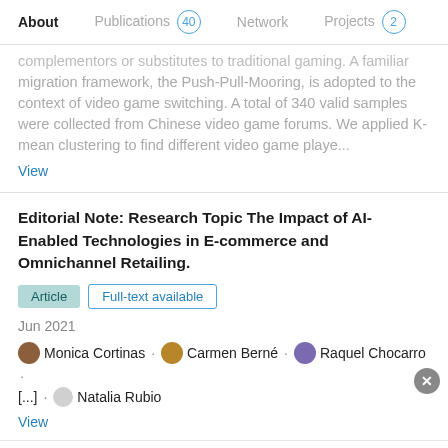About  Publications 40  Network  Projects 2
complementors or substitutes to traditional gaming. A familiar migration framework, the Push-Pull-Mooring, is adopted to the context of video game switching. A total of 340 valid samples were collected from Chinese video game forums. We applied K-mean clustering to find different video game playe...
View
Editorial Note: Research Topic The Impact of AI-Enabled Technologies in E-commerce and Omnichannel Retailing.
Article  Full-text available
Jun 2021
Monica Cortinas · Carmen Berné · Raquel Chocarro · [...] · Natalia Rubio
View
Advertisement
[Figure (screenshot): Teach For America advertisement banner with yellow logo text and Learn More button]